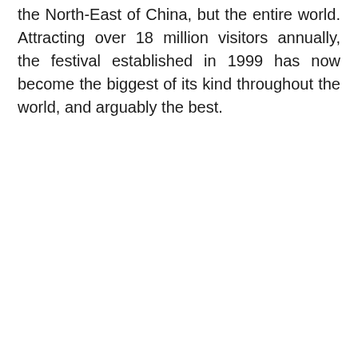the North-East of China, but the entire world. Attracting over 18 million visitors annually, the festival established in 1999 has now become the biggest of its kind throughout the world, and arguably the best.